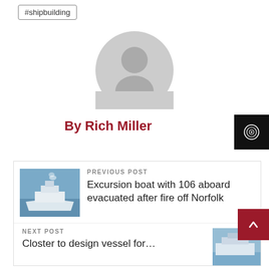#shipbuilding
[Figure (illustration): Generic user avatar icon — grey circle with silhouette of a person]
By Rich Miller
[Figure (other): Dark badge with spiral/target icon]
PREVIOUS POST
[Figure (photo): Excursion boat on water with smoke or steam visible]
Excursion boat with 106 aboard evacuated after fire off Norfolk
NEXT POST
[Figure (photo): Partial view of a vessel or ship]
Closter to design vessel for…